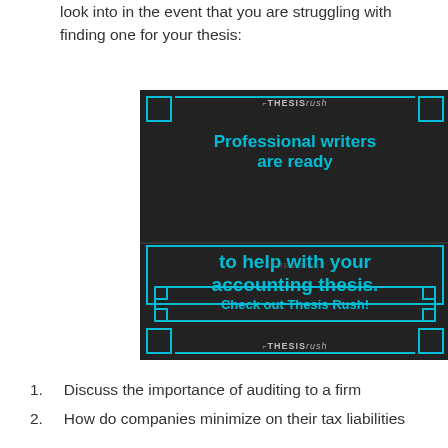look into in the event that you are struggling with finding one for your thesis:
[Figure (illustration): ThesisRush advertisement banner with dark background. Bold cyan text reads 'Professional writers are ready to help with your accounting thesis.' with a 'Check out Thesis Rush!' button and ThesisRush logo at top and bottom. Decorative cyan border corners and lines frame the image.]
1. Discuss the importance of auditing to a firm
2. How do companies minimize on their tax liabilities